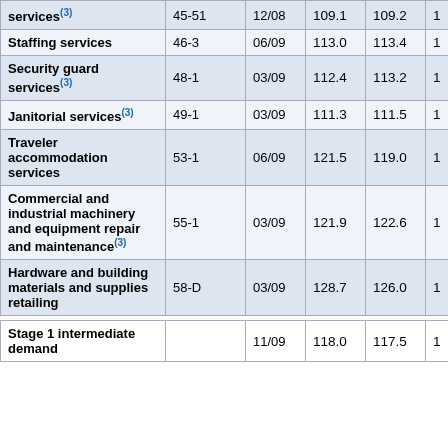| Service/Category | Code | Date | Val1 | Val2 | Val3 |
| --- | --- | --- | --- | --- | --- |
| services(3) | 45-51 | 12/08 | 109.1 | 109.2 | 1 |
| Staffing services | 46-3 | 06/09 | 113.0 | 113.4 | 1 |
| Security guard services(3) | 48-1 | 03/09 | 112.4 | 113.2 | 1 |
| Janitorial services(3) | 49-1 | 03/09 | 111.3 | 111.5 | 1 |
| Traveler accommodation services | 53-1 | 06/09 | 121.5 | 119.0 | 1 |
| Commercial and industrial machinery and equipment repair and maintenance(3) | 55-1 | 03/09 | 121.9 | 122.6 | 1 |
| Hardware and building materials and supplies retailing | 58-D | 03/09 | 128.7 | 126.0 | 1 |
| Stage 1 intermediate demand |  | 11/09 | 118.0 | 117.5 | 1 |